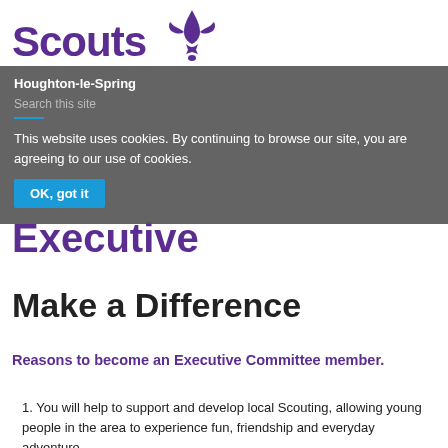Scouts Houghton-le-Spring
This website uses cookies. By continuing to browse our site, you are agreeing to our use of cookies.
OK, got it
Executive
Make a Difference
Reasons to become an Executive Committee member.
You will help to support and develop local Scouting, allowing young people in the area to experience fun, friendship and everyday adventure.